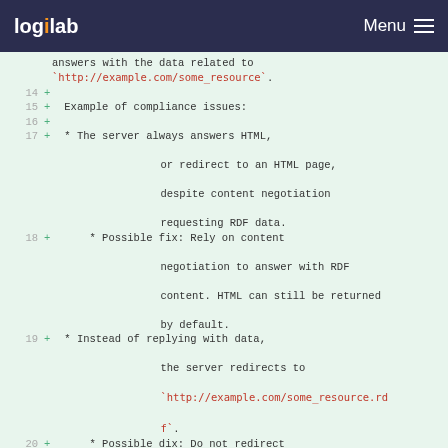logilab Menu
answers with the data related to `http://example.com/some_resource`.
14 +
15 + Example of compliance issues:
16 +
17 + * The server always answers HTML, or redirect to an HTML page, despite content negotiation requesting RDF data.
18 +     * Possible fix: Rely on content negotiation to answer with RDF content. HTML can still be returned by default.
19 + * Instead of replying with data, the server redirects to `http://example.com/some_resource.rdf`.
20 +     * Possible dix: Do not redirect to different URIs depending on RDF syntaxes (.n3, .nt, .rdf, etc.) but